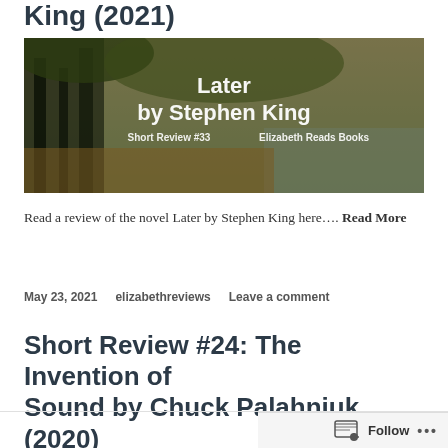King (2021)
[Figure (photo): Book review banner image for 'Later by Stephen King' showing a nature/park scene with trees and water. Overlaid white text reads: 'Later by Stephen King', 'Short Review #33', 'Elizabeth Reads Books']
Read a review of the novel Later by Stephen King here.... Read More
May 23, 2021   elizabethreviews   Leave a comment
Short Review #24: The Invention of Sound by Chuck Palahniuk (2020)